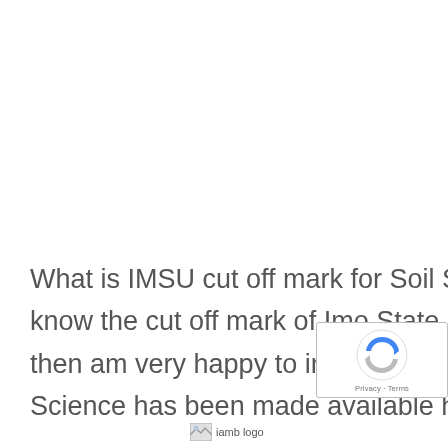What is IMSU cut off mark for Soil Science 2020/2021? If you want to know the cut off mark of Imo State University for Soil Science in IMSU then am very happy to inform you that IMSU cut off mark for Soil Science has been made available here in this post.
[Figure (logo): Small image placeholder/logo at the bottom center of the page, partially visible]